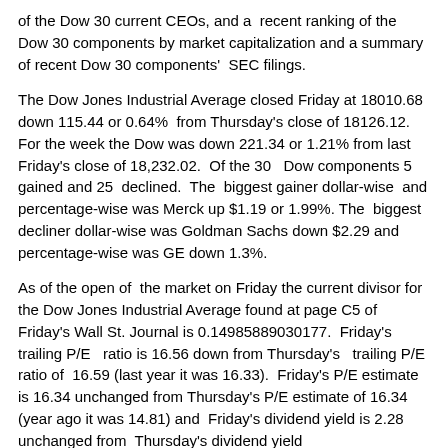of the Dow 30 current CEOs, and a recent ranking of the Dow 30 components by market capitalization and a summary of recent Dow 30 components' SEC filings.
The Dow Jones Industrial Average closed Friday at 18010.68 down 115.44 or 0.64% from Thursday's close of 18126.12. For the week the Dow was down 221.34 or 1.21% from last Friday's close of 18,232.02. Of the 30 Dow components 5 gained and 25 declined. The biggest gainer dollar-wise and percentage-wise was Merck up $1.19 or 1.99%. The biggest decliner dollar-wise was Goldman Sachs down $2.29 and percentage-wise was GE down 1.3%.
As of the open of the market on Friday the current divisor for the Dow Jones Industrial Average found at page C5 of Friday's Wall St. Journal is 0.14985889030177. Friday's trailing P/E ratio is 16.56 down from Thursday's trailing P/E ratio of 16.59 (last year it was 16.33). Friday's P/E estimate is 16.34 unchanged from Thursday's P/E estimate of 16.34 (year ago it was 14.81) and Friday's dividend yield is 2.28 unchanged from Thursday's dividend yield